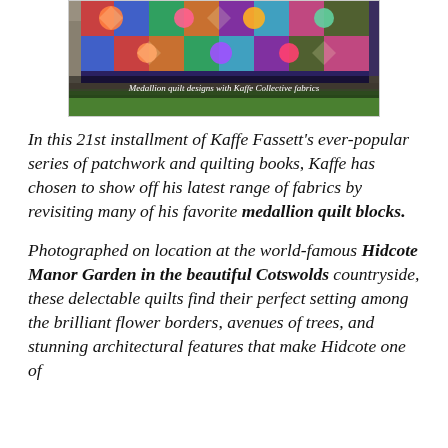[Figure (photo): A colorful medallion quilt with Kaffe Collective fabrics draped over a stone surface outdoors, with green grass in background. Caption overlay reads: Medallion quilt designs with Kaffe Collective fabrics]
Medallion quilt designs with Kaffe Collective fabrics
In this 21st installment of Kaffe Fassett's ever-popular series of patchwork and quilting books, Kaffe has chosen to show off his latest range of fabrics by revisiting many of his favorite medallion quilt blocks.
Photographed on location at the world-famous Hidcote Manor Garden in the beautiful Cotswolds countryside, these delectable quilts find their perfect setting among the brilliant flower borders, avenues of trees, and stunning architectural features that make Hidcote one of